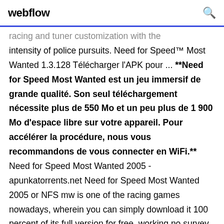webflow
racing and tuner customization with the intensity of police pursuits. Need for Speed™ Most Wanted 1.3.128 Télécharger l'APK pour ... **Need for Speed Most Wanted est un jeu immersif de grande qualité. Son seul téléchargement nécessite plus de 550 Mo et un peu plus de 1 900 Mo d'espace libre sur votre appareil. Pour accélérer la procédure, nous vous recommandons de vous connecter en WiFi.** Need for Speed Most Wanted 2005 - apunkatorrents.net Need for Speed Most Wanted 2005 or NFS mw is one of the racing games nowadays, wherein you can simply download it 100 percent of its full version for free, working no survey and any charges. Also,